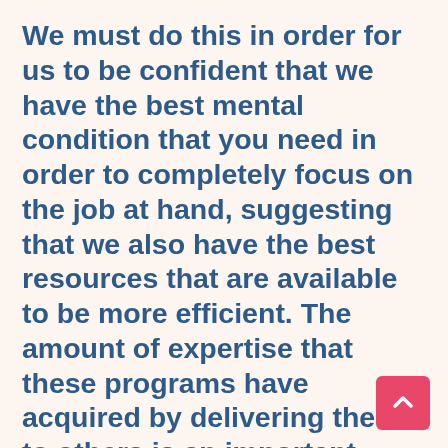We must do this in order for us to be confident that we have the best mental condition that you need in order to completely focus on the job at hand, suggesting that we also have the best resources that are available to be more efficient. The amount of expertise that these programs have acquired by delivering them to others is an important aspect that you cannot ignore. We will determine the amount of experience that dumpster rental programs have attained by looking at the length of time that they have been in operation.